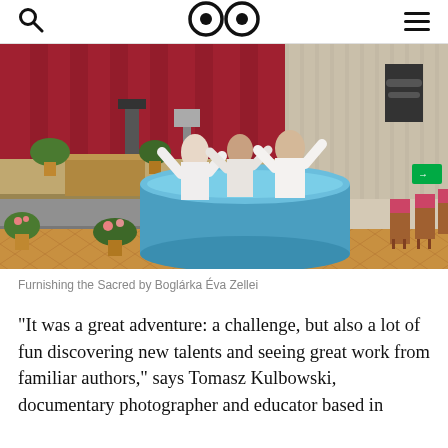Search | Logo (eyes) | Menu
[Figure (photo): Three people in white clothes standing in a large round blue baptismal pool in a hall with herringbone wood floor, red curtain stage in background, pink-cushioned chairs to the right, potted plants around.]
Furnishing the Sacred by Boglárka Éva Zellei
"It was a great adventure: a challenge, but also a lot of fun discovering new talents and seeing great work from familiar authors," says Tomasz Kulbowski, documentary photographer and educator based in